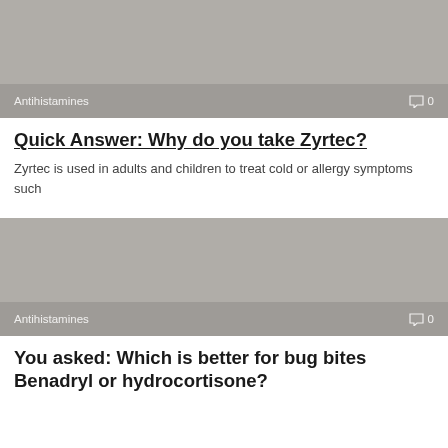[Figure (photo): Gray placeholder image with 'Antihistamines' label and comment count '0' at the bottom]
Quick Answer: Why do you take Zyrtec?
Zyrtec is used in adults and children to treat cold or allergy symptoms such
[Figure (photo): Gray placeholder image with 'Antihistamines' label and comment count '0' at the bottom]
You asked: Which is better for bug bites Benadryl or hydrocortisone?